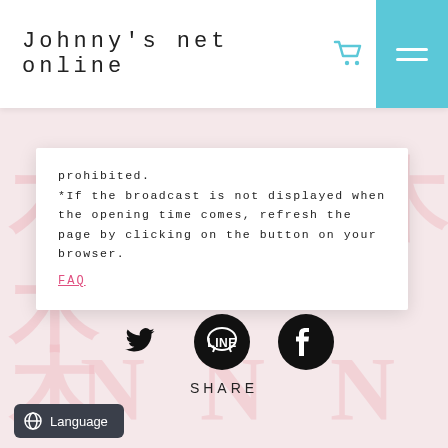Johnny's net online
prohibited.
*If the broadcast is not displayed when the opening time comes, refresh the page by clicking on the button on your browser.
FAQ
[Figure (infographic): Social share icons: Twitter bird icon, LINE circle icon, Facebook circle icon, with SHARE label below]
SHARE
Language